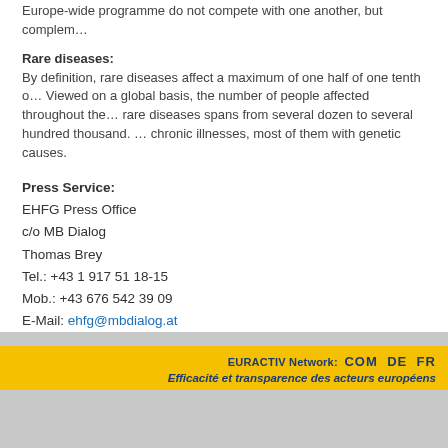Europe-wide programme do not compete with one another, but complement…
Rare diseases:
By definition, rare diseases affect a maximum of one half of one tenth o… Viewed on a global basis, the number of people affected throughout the… rare diseases spans from several dozen to several hundred thousand. … chronic illnesses, most of them with genetic causes.
Press Service:
EHFG Press Office
c/o MB Dialog
Thomas Brey
Tel.: +43 1 917 51 18-15
Mob.: +43 676 542 39 09
E-Mail: ehfg@mbdialog.at
EURACTIV Network: COM DE FR … Efficacité et transparence des acteurs européens